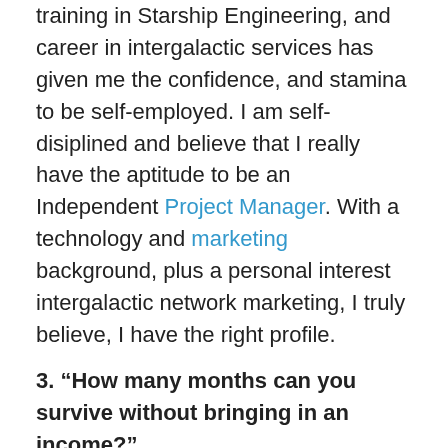training in Starship Engineering, and career in intergalactic services has given me the confidence, and stamina to be self-employed. I am self-disiplined and believe that I really have the aptitude to be an Independent Project Manager. With a technology and marketing background, plus a personal interest intergalactic network marketing, I truly believe, I have the right profile.
3. “How many months can you survive without bringing in an income?”
I still have eigteen months of redundancy settlement left and I can always take an early retirement pension income. All my pensions have an over thirty early retirement option.
4. “What do you know about the interim market?”
W dld b t t b t th b d li t f